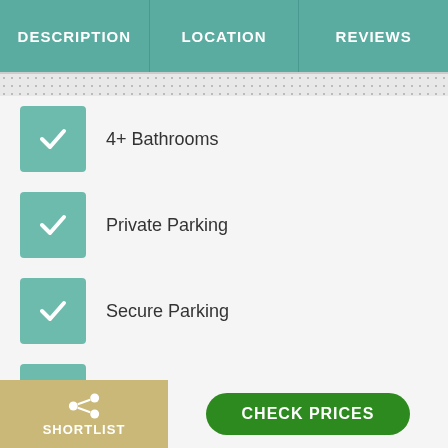| DESCRIPTION | LOCATION | REVIEWS |
| --- | --- | --- |
4+ Bathrooms
Private Parking
Secure Parking
Internet
Terrace
Pet Friendly
SHORTLIST | CHECK PRICES